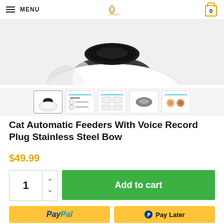MENU | Logo | Cart 0
[Figure (photo): Partial top view of a white round automatic pet feeder with stainless steel bowl, cropped showing upper portion]
[Figure (photo): 5 product thumbnail images: front view of feeder, instruction diagram 1, instruction diagram 2, top button view, instruction diagram 3]
Cat Automatic Feeders With Voice Record Plug Stainless Steel Bow
$49.99
1
Add to cart
PayPal
Pay Later